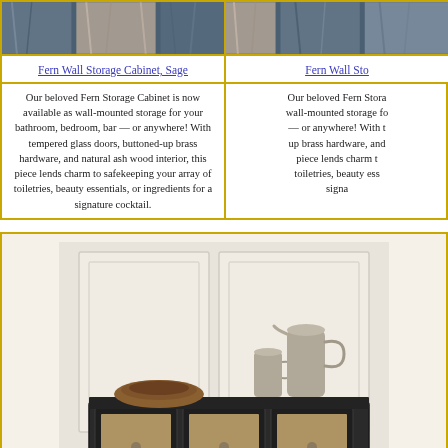[Figure (photo): Fern Wall Storage Cabinet, Sage product photo - top portion showing curtain/cabinet detail]
Fern Wall Storage Cabinet, Sage
Our beloved Fern Storage Cabinet is now available as wall-mounted storage for your bathroom, bedroom, bar — or anywhere! With tempered glass doors, buttoned-up brass hardware, and natural ash wood interior, this piece lends charm to safekeeping your array of toiletries, beauty essentials, or ingredients for a signature cocktail.
[Figure (photo): Fern Wall Storage Cabinet (second variant) product photo - top portion]
Fern Wall Sto...
Our beloved Fern Stora... wall-mounted storage fo... — or anywhere! With t... up brass hardware, and... piece lends charm t... toiletries, beauty ess... signa...
[Figure (photo): Dark wood cabinet with glass doors, wooden bowl, and ceramic pitchers displayed on top, against white paneled wall background]